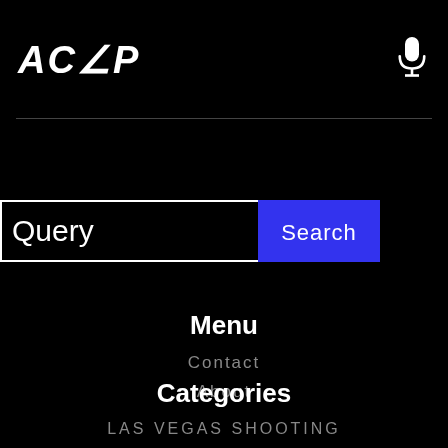ACAP
[Figure (illustration): Microphone icon in white, top right corner]
Query
Search
Menu
Contact
About
Categories
LAS VEGAS SHOOTING
NEWS
UNEARTHED